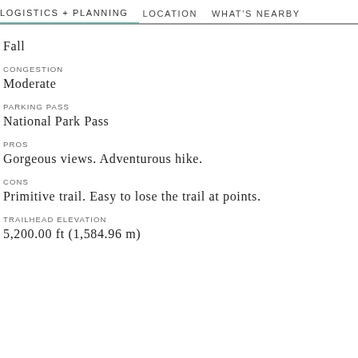LOGISTICS + PLANNING   LOCATION   WHAT'S NEARBY
Fall
CONGESTION
Moderate
PARKING PASS
National Park Pass
PROS
Gorgeous views. Adventurous hike.
CONS
Primitive trail. Easy to lose the trail at points.
TRAILHEAD ELEVATION
5,200.00 ft (1,584.96 m)